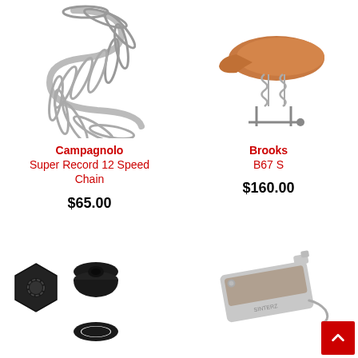[Figure (photo): Campagnolo Super Record 12 Speed Chain coiled on white background]
Campagnolo
Super Record 12 Speed Chain
$65.00
[Figure (photo): Brooks B67 S saddle with springs on white background]
Brooks
B67 S
$160.00
[Figure (photo): Black bicycle axle nut and spacer components on white background]
[Figure (photo): Sinterz disc brake pads on white background]